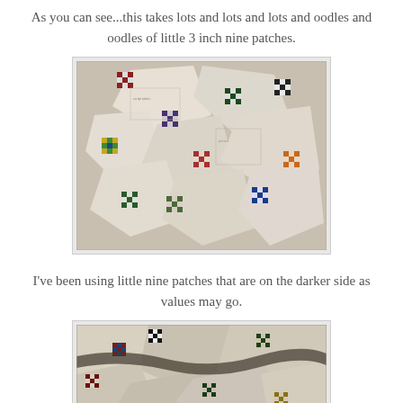As you can see...this takes lots and lots and lots and oodles and oodles of little 3 inch nine patches.
[Figure (photo): Photograph of quilt fabric pieces — colorful nine-patch squares in various fabrics arranged together on a surface, showing a variety of patterns including plaids, checks, and prints in reds, blues, greens, and neutral tones.]
I've been using little nine patches that are on the darker side as values may go.
[Figure (photo): Close-up photograph of quilt pieces showing darker nine-patch squares with black-and-white checks, dark greens, reds, and yellows set against lighter background fabrics.]